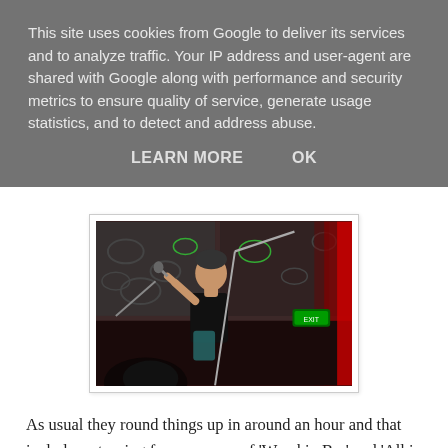This site uses cookies from Google to deliver its services and to analyze traffic. Your IP address and user-agent are shared with Google along with performance and security metrics to ensure quality of service, generate usage statistics, and to detect and address abuse.
LEARN MORE    OK
[Figure (photo): A performer on stage wearing a black t-shirt, singing into a microphone, with a dimly lit venue background including a green exit sign and red lighting.]
As usual they round things up in around an hour and that includes returning for an encore of 'Wreckin Bar' and 'All in